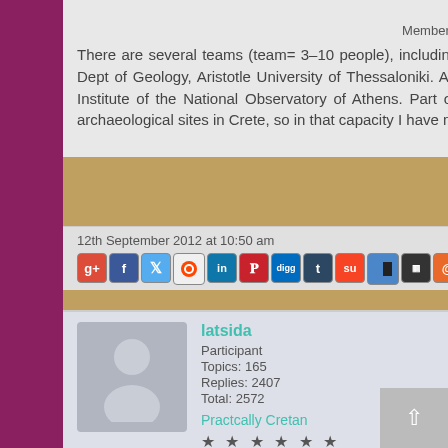★ ★ ★ ★
Member since: 17th September 2006
There are several teams (team= 3–10 people), including those from the Institute for Geology and Mineral Exploration in Athens, Dept of Geology, Aristotle University of Thessaloniki. As well Santorini is continuously monitored by a team at the Geodynamic Institute of the National Observatory of Athens. Part of my job (a small part) is monitoring seismic impact on the geology of archaeological sites in Crete, so in that capacity I have met several of my Greek colleagues at conferences etc.
12th September 2012 at 10:50 am   #42476
[Figure (other): Row of social media sharing icons: Google+, Facebook, Twitter, Reddit, LinkedIn, Pinterest, Digg, Tumblr, StumbleUpon, Delicious, Myspace, Email]
latsida
Participant
Topics: 165
Replies: 2407
Total: 2572
Practcally Cretan
★ ★ ★ ★ ★ ★